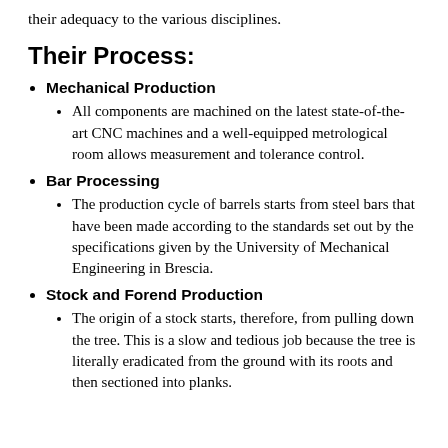their adequacy to the various disciplines.
Their Process:
Mechanical Production
All components are machined on the latest state-of-the-art CNC machines and a well-equipped metrological room allows measurement and tolerance control.
Bar Processing
The production cycle of barrels starts from steel bars that have been made according to the standards set out by the specifications given by the University of Mechanical Engineering in Brescia.
Stock and Forend Production
The origin of a stock starts, therefore, from pulling down the tree. This is a slow and tedious job because the tree is literally eradicated from the ground with its roots and then sectioned into planks.